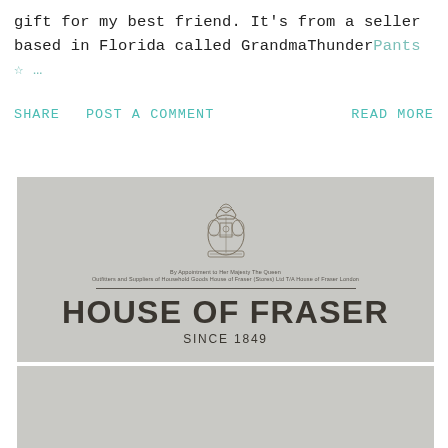gift for my best friend. It's from a seller based in Florida called GrandmaThunderPants ☆ …
SHARE   POST A COMMENT   READ MORE
[Figure (photo): House of Fraser branded card or letterhead showing the royal crest, appointment text, decorative lines, 'HOUSE OF FRASER' in large bold letters, and 'SINCE 1849' below.]
[Figure (photo): Partial view of the bottom of another House of Fraser card or packaging, showing a grey background.]